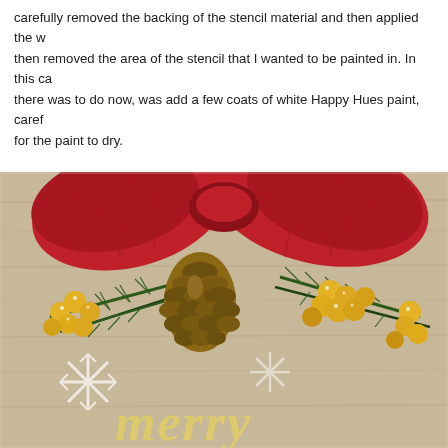carefully removed the backing of the stencil material and then applied the w... then removed the area of the stencil that I wanted to be painted in. In this ca... there was to do now, was add a few coats of white Happy Hues paint, caref... for the paint to dry.
[Figure (photo): A Christmas craft sign decorated with a large red ribbon/bow, pine cones, gold glitter berry clusters, pine branches, and white painted snowflake stencil designs. At the bottom, gold script lettering begins to spell 'merry'. The wooden sign has a grey/tan wood-grain background.]